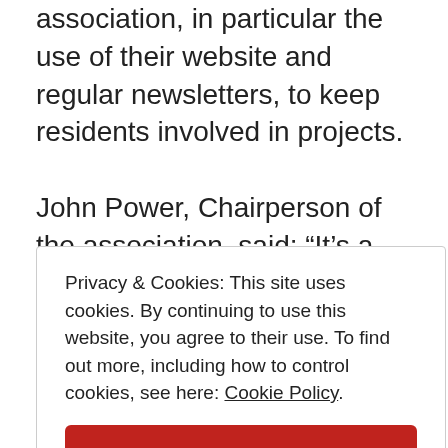association, in particular the use of their website and regular newsletters, to keep residents involved in projects.
John Power, Chairperson of the association, said: “It’s a tremendous achievement and pat on the back for all involved and a great motivator to continue such good work. This award is particularly significant considering our estate is still under construction. The association fought
Privacy & Cookies: This site uses cookies. By continuing to use this website, you agree to their use. To find out more, including how to control cookies, see here: Cookie Policy
Close and accept
well this year in both rounds of judging.